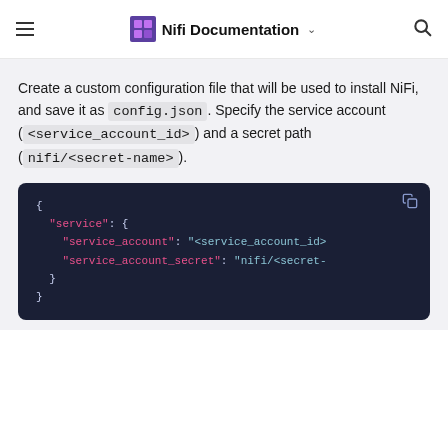Nifi Documentation
Create a custom configuration file that will be used to install NiFi, and save it as config.json. Specify the service account ( <service_account_id> ) and a secret path ( nifi/<secret-name> ).
[Figure (screenshot): Dark-themed JSON code block showing a configuration object with service_account and service_account_secret fields]